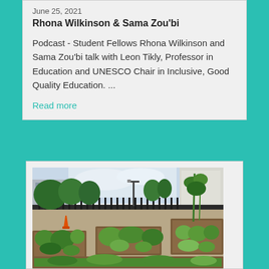June 25, 2021
Rhona Wilkinson & Sama Zou'bi
Podcast - Student Fellows Rhona Wilkinson and Sama Zou'bi talk with Leon Tikly, Professor in Education and UNESCO Chair in Inclusive, Good Quality Education. ...
Read more
[Figure (photo): Outdoor community garden with raised planting beds containing various green plants and herbs, gravel paths between beds, black metal fence in background, trees and brick buildings visible beyond fence, orange traffic cone on left side.]